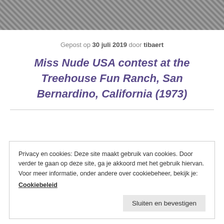[Figure (photo): Grayscale photo strip at top of page showing people at an outdoor event]
Gepost op 30 juli 2019 door tibaert
Miss Nude USA contest at the Treehouse Fun Ranch, San Bernardino, California (1973)
Privacy en cookies: Deze site maakt gebruik van cookies. Door verder te gaan op deze site, ga je akkoord met het gebruik hiervan.
Voor meer informatie, onder andere over cookiebeheer, bekijk je:
Cookiebeleid
Sluiten en bevestigen